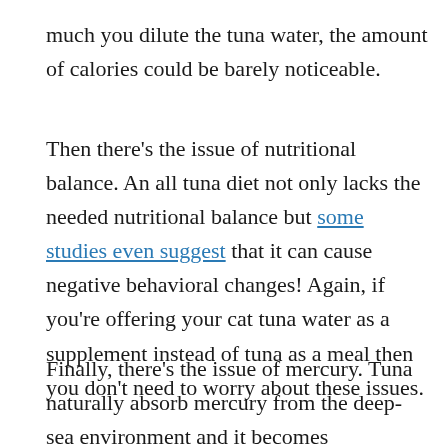much you dilute the tuna water, the amount of calories could be barely noticeable.
Then there’s the issue of nutritional balance. An all tuna diet not only lacks the needed nutritional balance but some studies even suggest that it can cause negative behavioral changes! Again, if you’re offering your cat tuna water as a supplement instead of tuna as a meal then you don’t need to worry about these issues.
Finally, there’s the issue of mercury. Tuna naturally absorb mercury from the deep-sea environment and it becomes concentrated in their tissues. When humans or cats eat tuna, we’re also eating some of that mercury. Over time, this can build up and cause a long